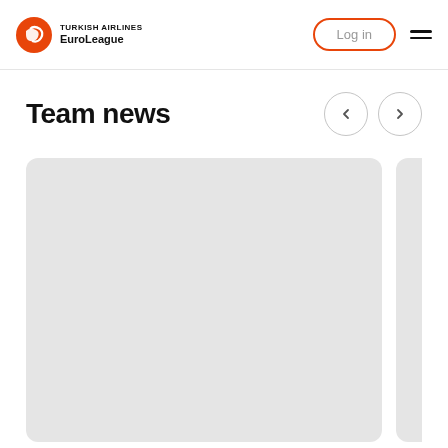TURKISH AIRLINES EuroLeague
Team news
[Figure (other): Gray placeholder card for team news article, partially visible second card on the right]